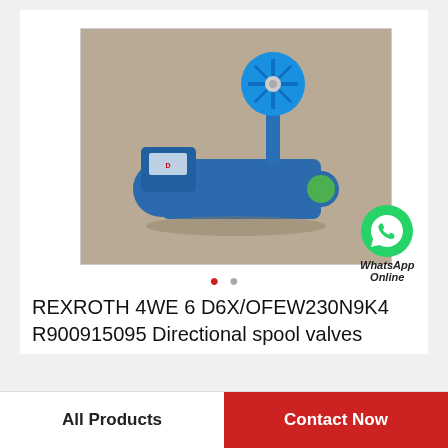[Figure (photo): Blue Rexroth directional spool valve with hand wheel on top, sitting on a gray carpet surface. A WhatsApp Online badge with green WhatsApp icon appears in the lower right of the photo area.]
REXROTH 4WE 6 D6X/OFEW230N9K4 R900915095 Directional spool valves
All Products
Contact Now